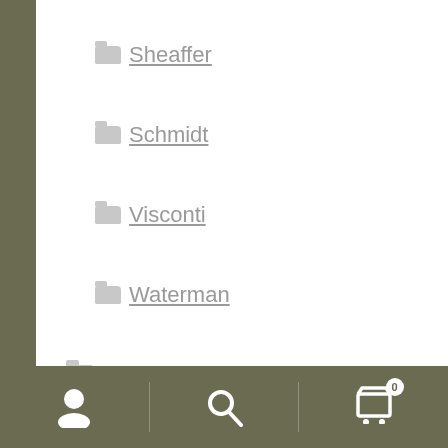Sheaffer
Schmidt
Visconti
Waterman
Pencil Leads
Stationery
Leather and Accessories
Store Front Designed by TheInkflow©